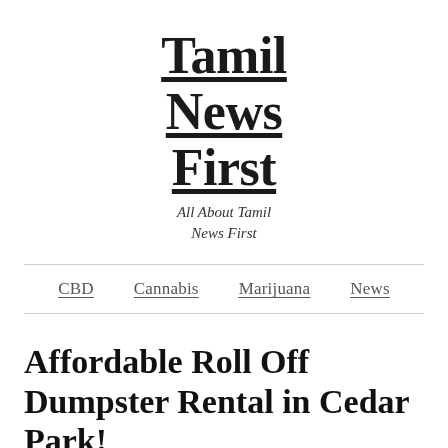Tamil News First
All About Tamil News First
CBD  Cannabis  Marijuana  News
Affordable Roll Off Dumpster Rental in Cedar Park!
Mar 19